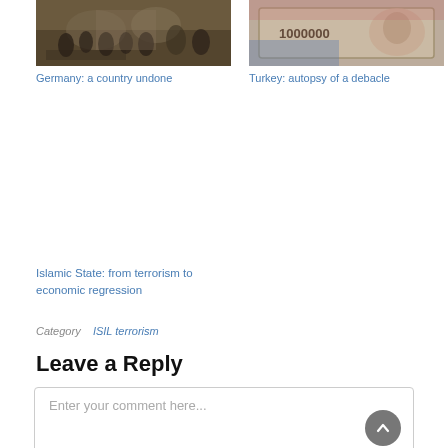[Figure (photo): Historical painting of a crowded ceremonial scene, dark tones, Germany article image]
Germany: a country undone
[Figure (photo): Close-up photo of a 1000000 banknote with a portrait, blue and pink tones, Turkey article image]
Turkey: autopsy of a debacle
Islamic State: from terrorism to economic regression
Category   ISIL   terrorism
Leave a Reply
Enter your comment here...